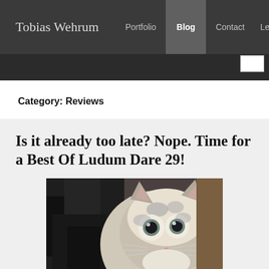Tobias Wehrum | Portfolio | Blog | Contact | Legal Inf
Category: Reviews
Is it already too late? Nope. Time for a Best Of Ludum Dare 29!
[Figure (photo): A surprised-looking cat with wide eyes staring at the camera, white and grey fur, blurry indoor background]